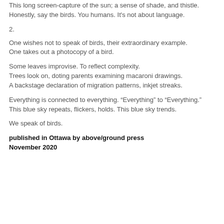This long screen-capture of the sun; a sense of shade, and thistle.
Honestly, say the birds. You humans. It's not about language.
2.
One wishes not to speak of birds, their extraordinary example.
One takes out a photocopy of a bird.
Some leaves improvise. To reflect complexity.
Trees look on, doting parents examining macaroni drawings.
A backstage declaration of migration patterns, inkjet streaks.
Everything is connected to everything. “Everything” to “Everything.”
This blue sky repeats, flickers, holds. This blue sky trends.
We speak of birds.
published in Ottawa by above/ground press
November 2020